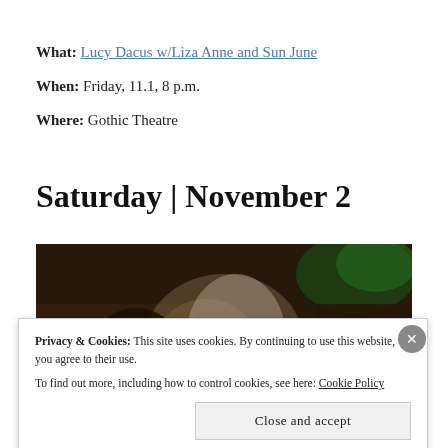What: Lucy Dacus w/Liza Anne and Sun June
When: Friday, 11.1, 8 p.m.
Where: Gothic Theatre
Saturday | November 2
[Figure (photo): Dark concert/performance photo showing performer at dimly lit stage with warm amber lighting and green background light]
Privacy & Cookies: This site uses cookies. By continuing to use this website, you agree to their use.
To find out more, including how to control cookies, see here: Cookie Policy
Close and accept